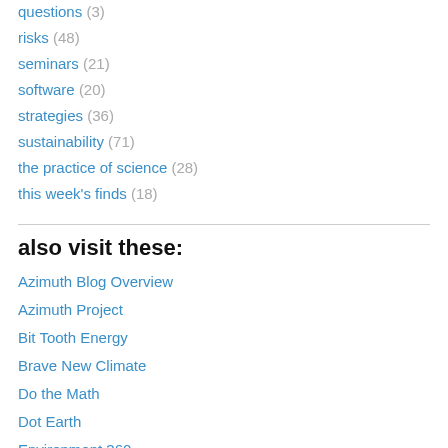questions (3)
risks (48)
seminars (21)
software (20)
strategies (36)
sustainability (71)
the practice of science (28)
this week's finds (18)
also visit these:
Azimuth Blog Overview
Azimuth Project
Bit Tooth Energy
Brave New Climate
Do the Math
Dot Earth
Environment 360
Planet3.0